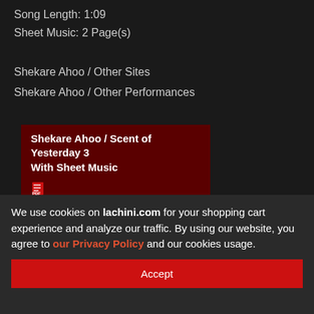Track # 4
Song Length: 1:09
Sheet Music: 2 Page(s)
Shekare Ahoo / Other Sites
Shekare Ahoo / Other Performances
Shekare Ahoo / Scent of Yesterday 3 With Sheet Music
Shekare Ahoo / Gol Afshan 1
Shekare Ahoo / Diar 1
We use cookies on lachini.com for your shopping cart experience and analyze our traffic. By using our website, you agree to our Privacy Policy and our cookies usage.
Accept